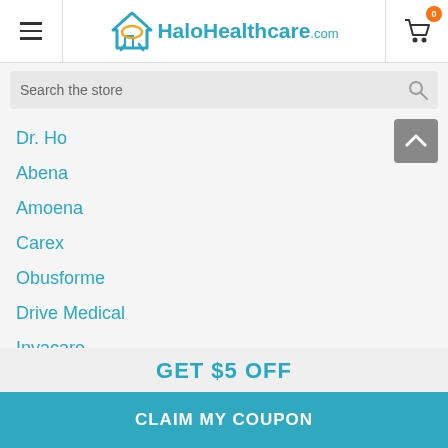HaloHealthcare.com
Search the store
Dr. Ho
Abena
Amoena
Carex
Obusforme
Drive Medical
Invacare
Mobb Healthcare
GET $5 OFF
CLAIM MY COUPON